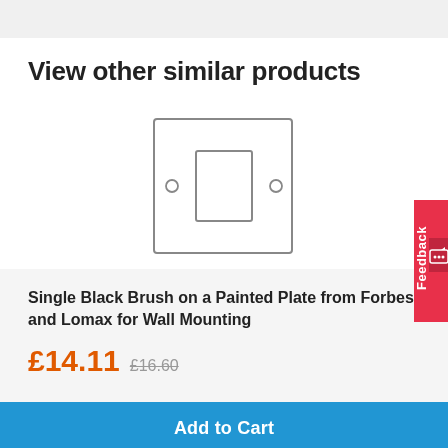View other similar products
[Figure (illustration): Line drawing of a single electrical switch plate with a central square rocker switch and two screw holes on left and right sides, shown in a square painted plate outline.]
Single Black Brush on a Painted Plate from Forbes and Lomax for Wall Mounting
£14.11  £16.60
Add to Cart